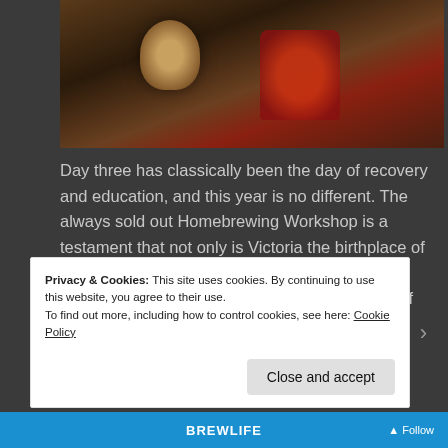[Figure (photo): Dark photo showing glass bottles or decanters on a surface with warm reddish-brown background tones, related to homebrewing or craft beer]
Day three has classically been the day of recovery and education, and this year is no different. The always sold out Homebrewing Workshop is a testament that not only is Victoria the birthplace of the Craft Beer Revolution, but that it started and continues in the garages, sheds, and kitchens of people throughout the region. ...
Continue reading
Privacy & Cookies: This site uses cookies. By continuing to use this website, you agree to their use.
To find out more, including how to control cookies, see here: Cookie Policy
Close and accept